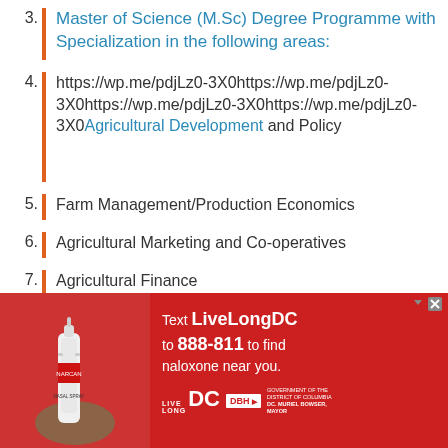Master of Science (M.Sc) Degree Programme with Specialization in the following areas:
https://wp.me/pdjLz0-3X0https://wp.me/pdjLz0-3X0https://wp.me/pdjLz0-3X0https://wp.me/pdjLz0-3X0Agricultural Development and Policy
Farm Management/Production Economics
Agricultural Marketing and Co-operatives
Agricultural Finance
Resource and Environmental Economics
[Figure (infographic): Advertisement banner: Text LiveLongDC to 888-811 to find naloxone near you. Red background with logos for LiveLong DC, DBH, and DC Government. Image of hand holding nasal spray on the left.]